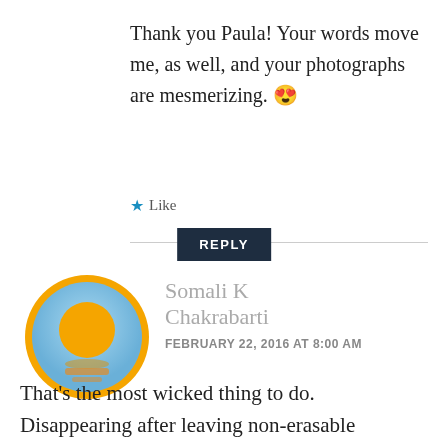Thank you Paula! Your words move me, as well, and your photographs are mesmerizing. 😍
★ Like
REPLY
[Figure (illustration): Circular avatar icon with orange circle and light blue gradient background with yellow ring border]
Somali K Chakrabarti
FEBRUARY 22, 2016 AT 8:00 AM
That's the most wicked thing to do. Disappearing after leaving non-erasable imprints. And still you pay such a nice ode